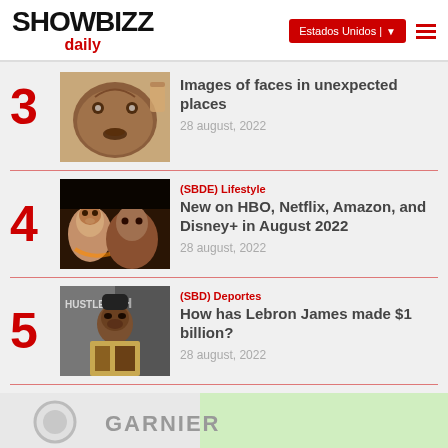SHOWBIZZ daily — Estados Unidos | ☰
3 — Images of faces in unexpected places — 28 august, 2022
4 — (SBDE) Lifestyle — New on HBO, Netflix, Amazon, and Disney+ in August 2022 — 28 august, 2022
5 — (SBD) Deportes — How has Lebron James made $1 billion? — 28 august, 2022
[Figure (advertisement): Garnier advertisement banner at the bottom of the page]